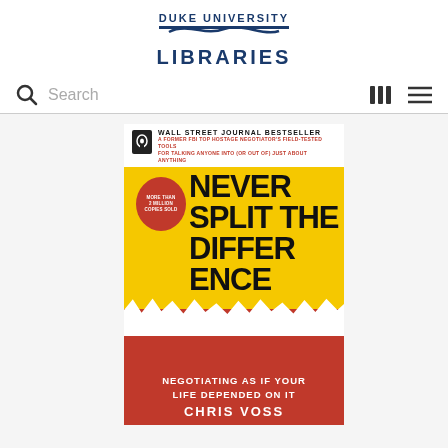[Figure (logo): Duke University Libraries logo with blue text and decorative lines]
Search
[Figure (photo): Book cover of 'Never Split the Difference: Negotiating as if Your Life Depended on It' by Chris Voss. Wall Street Journal Bestseller. Yellow and red cover with torn paper effect. More than 2 million copies sold badge.]